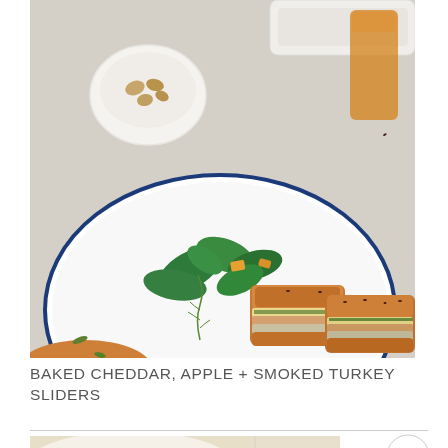[Figure (photo): Food photograph showing baked sliders with turkey and cheddar on a white plate with blue rim, accompanied by a green salad with orange pieces. Background shows a white bowl with nuts, a white baking dish, and an amber glass on a light linen surface.]
BAKED CHEDDAR, APPLE + SMOKED TURKEY SLIDERS
[Figure (photo): Partial view of a second food photograph showing pasta or similar dish with vegetables.]